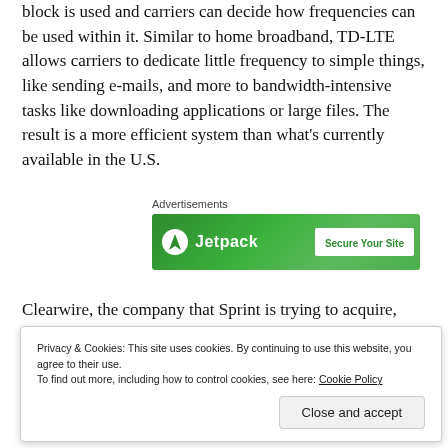block is used and carriers can decide how frequencies can be used within it. Similar to home broadband, TD-LTE allows carriers to dedicate little frequency to simple things, like sending e-mails, and more to bandwidth-intensive tasks like downloading applications or large files. The result is a more efficient system than what's currently available in the U.S.
[Figure (screenshot): Jetpack advertisement banner with green background showing logo and 'Secure Your Site' button]
Clearwire, the company that Sprint is trying to acquire, uses the TD-LTE spectrum. In his remarks to reporters on Tuesday, Son said that his company's expertise, coupled with the
Privacy & Cookies: This site uses cookies. By continuing to use this website, you agree to their use.
To find out more, including how to control cookies, see here: Cookie Policy
Close and accept